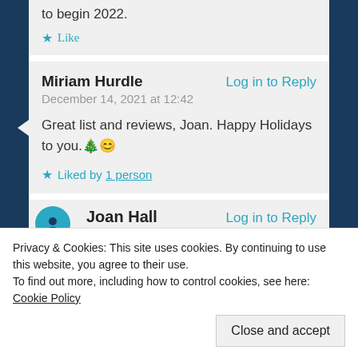to begin 2022.
Like
Miriam Hurdle
Log in to Reply
December 14, 2021 at 12:42
Great list and reviews, Joan. Happy Holidays to you. 🎄😊
Liked by 1 person
[Figure (illustration): Teal circular avatar with person silhouette icon]
Joan Hall
Log in to Reply
Privacy & Cookies: This site uses cookies. By continuing to use this website, you agree to their use.
To find out more, including how to control cookies, see here: Cookie Policy
Close and accept